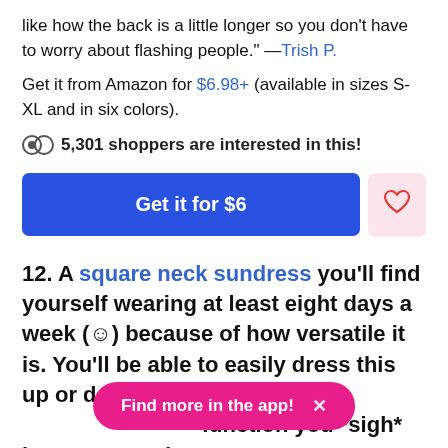like how the back is a little longer so you don't have to worry about flashing people." —Trish P.
Get it from Amazon for $6.98+ (available in sizes S-XL and in six colors).
5,301 shoppers are interested in this!
Get it for $6
12. A square neck sundress you'll find yourself wearing at least eight days a week (☺) because of how versatile it is. You'll be able to easily dress this up or down dep function you *sigh* have to attend.
Find more in the app! ×